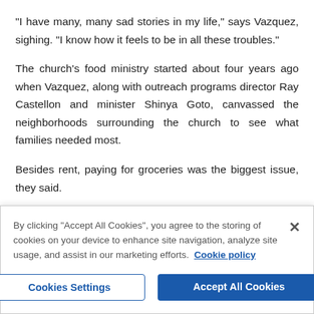"I have many, many sad stories in my life," says Vazquez, sighing. "I know how it feels to be in all these troubles."
The church's food ministry started about four years ago when Vazquez, along with outreach programs director Ray Castellon and minister Shinya Goto, canvassed the neighborhoods surrounding the church to see what families needed most.
Besides rent, paying for groceries was the biggest issue, they said.
In addition to shunning food banks, Vazquez says, many newly arrived immigrant families don't apply for the
By clicking "Accept All Cookies", you agree to the storing of cookies on your device to enhance site navigation, analyze site usage, and assist in our marketing efforts.  Cookie policy
Cookies Settings
Accept All Cookies